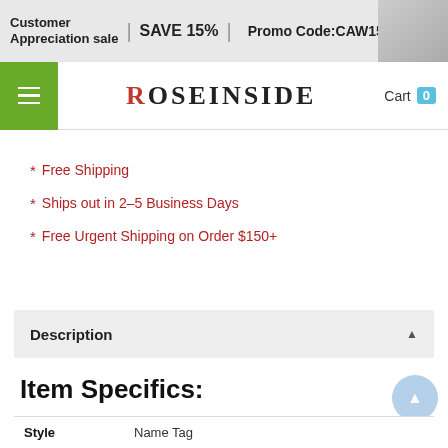Customer Appreciation sale | SAVE 15% | Promo Code:CAW15 SHOP NOW
ROSEINSIDE  Cart 0
* Free Shipping
* Ships out in 2-5 Business Days
* Free Urgent Shipping on Order $150+
Description
Item Specifics:
| Style |  |
| --- | --- |
| Style | Name Tag |